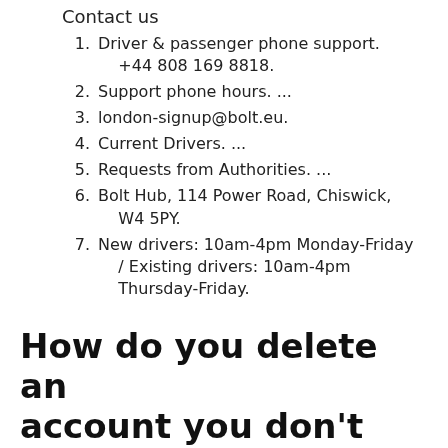Contact us
Driver & passenger phone support. +44 808 169 8818.
Support phone hours. ...
london-signup@bolt.eu.
Current Drivers. ...
Requests from Authorities. ...
Bolt Hub, 114 Power Road, Chiswick, W4 5PY.
New drivers: 10am-4pm Monday-Friday / Existing drivers: 10am-4pm Thursday-Friday.
How do you delete an account you don't use?
How to Delete Your Old Accounts